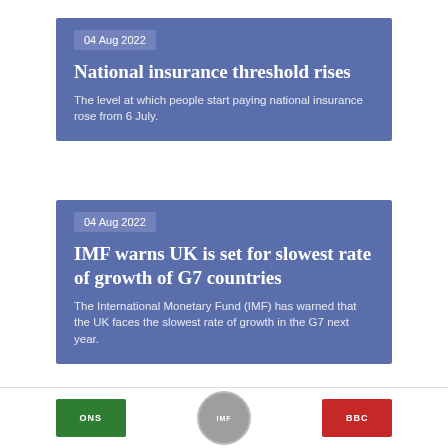04 Aug 2022
National insurance threshold rises
The level at which people start paying national insurance rose from 6 July.
04 Aug 2022
IMF warns UK is set for slowest rate of growth of G7 countries
The International Monetary Fund (IMF) has warned that the UK faces the slowest rate of growth in the G7 next year.